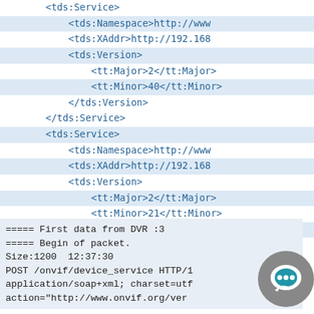<tds:Service>
    <tds:Namespace>http://www
    <tds:XAddr>http://192.168
    <tds:Version>
        <tt:Major>2</tt:Major>
        <tt:Minor>40</tt:Minor>
    </tds:Version>
</tds:Service>
<tds:Service>
    <tds:Namespace>http://www
    <tds:XAddr>http://192.168
    <tds:Version>
        <tt:Major>2</tt:Major>
        <tt:Minor>21</tt:Minor>
    </tds:Version>
</tds:Service>
</GetServicesResponse>
</env:Body>
</env:Envelope>
===== First data from DVR :3
===== Begin of packet.
Size:1200  12:37:30
POST /onvif/device_service HTTP/1
application/soap+xml; charset=utf
action="http://www.onvif.org/ver